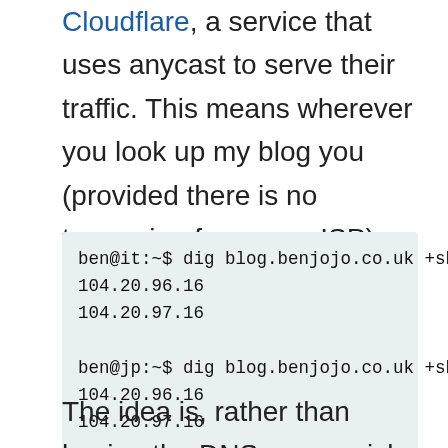Cloudflare, a service that uses anycast to serve their traffic. This means wherever you look up my blog you (provided there is no tampering from your ISP) get the same IP addresses:
ben@it:~$ dig blog.benjojo.co.uk +short
104.20.96.16
104.20.97.16

ben@jp:~$ dig blog.benjojo.co.uk +short
104.20.96.16
104.20.97.16
The idea is, rather than having the DNS server pick where the client goes, you use the routing layer of the internet to guide traffic to the closest location. This also means that if a